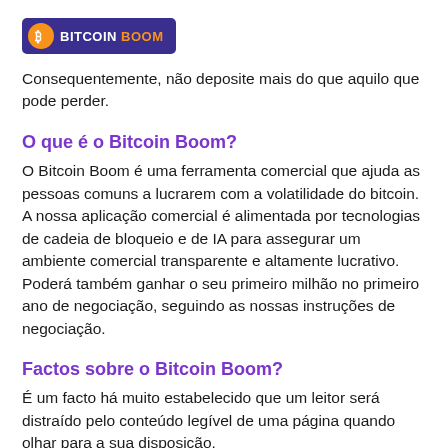[Figure (logo): Bitcoin Boom logo with orange Bitcoin icon on dark purple/navy background with white 'BITCOIN' and orange 'BOOM' text]
Consequentemente, não deposite mais do que aquilo que pode perder.
O que é o Bitcoin Boom?
O Bitcoin Boom é uma ferramenta comercial que ajuda as pessoas comuns a lucrarem com a volatilidade do bitcoin. A nossa aplicação comercial é alimentada por tecnologias de cadeia de bloqueio e de IA para assegurar um ambiente comercial transparente e altamente lucrativo. Poderá também ganhar o seu primeiro milhão no primeiro ano de negociação, seguindo as nossas instruções de negociação.
Factos sobre o Bitcoin Boom?
É um facto há muito estabelecido que um leitor será distraído pelo conteúdo legível de uma página quando olhar para a sua disposição.